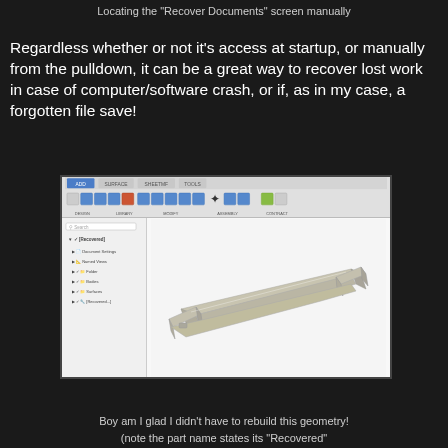Locating the "Recover Documents" screen manually
Regardless whether or not it's access at startup, or manually from the pulldown, it can be a great way to recover lost work in case of computer/software crash, or if, as in my case, a forgotten file save!
[Figure (screenshot): Screenshot of a CAD software (SolidWorks or similar) showing a 3D model of a recovered metal bracket/channel part with a file tree panel on the left showing Document Settings, Named Views, Folder, Bodies, Surfaces, and a recovered part file]
Boy am I glad I didn't have to rebuild this geometry!
(note the part name states its "Recovered"